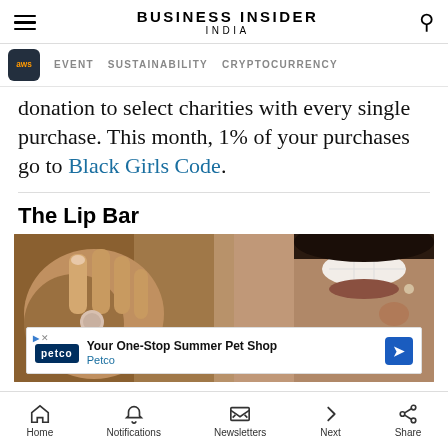BUSINESS INSIDER INDIA
donation to select charities with every single purchase. This month, 1% of your purchases go to Black Girls Code.
The Lip Bar
[Figure (photo): Close-up photo of a person's hand holding a small product near their face, showing teeth and lips]
Home  Notifications  Newsletters  Next  Share